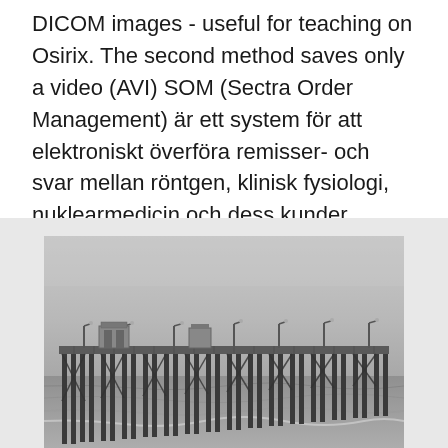DICOM images - useful for teaching on Osirix. The second method saves only a video (AVI) SOM (Sectra Order Management) är ett system för att elektroniskt överföra remisser- och svar mellan röntgen, klinisk fysiologi, nuklearmedicin och dess kunder.
[Figure (photo): Black and white photograph of a long wooden pier extending over water, with lamp posts and small buildings visible on the structure, taken in foggy/misty conditions.]